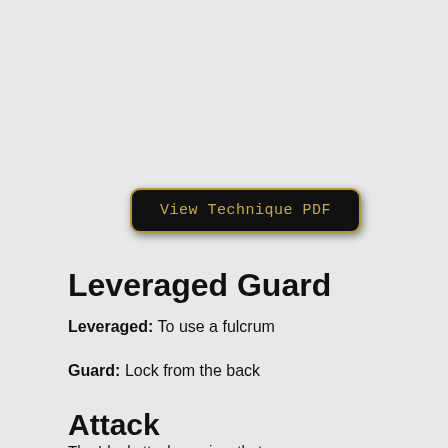[Figure (other): Button with gold border on black background reading 'View Technique PDF']
Leveraged Guard
Leveraged: To use a fulcrum
Guard: Lock from the back
Attack
The Ideal attack requires that your